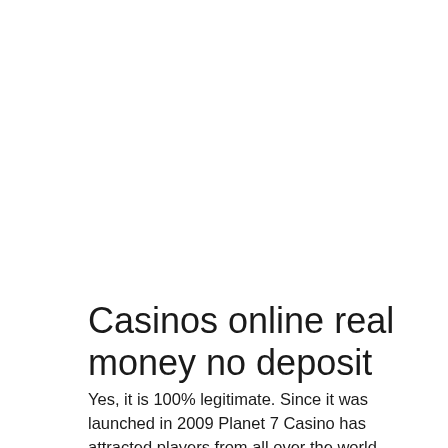Casinos online real money no deposit
Yes, it is 100% legitimate. Since it was launched in 2009 Planet 7 Casino has attracted players from all over the world (including the United State. Can you win